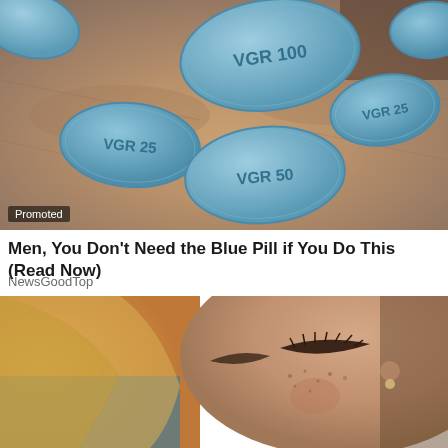[Figure (photo): Close-up photo of multiple blue diamond-shaped Viagra pills with embossed text VGR 25, VGR 50, VGR 100 resting on a person's hand/fingers]
Promoted
Men, You Don't Need the Blue Pill if You Do This (Read Now)
NewsGoodTop
[Figure (photo): Close-up photo of a freckled woman with closed eyes, appearing tired or emotional, with blonde hair and wearing a blue top]